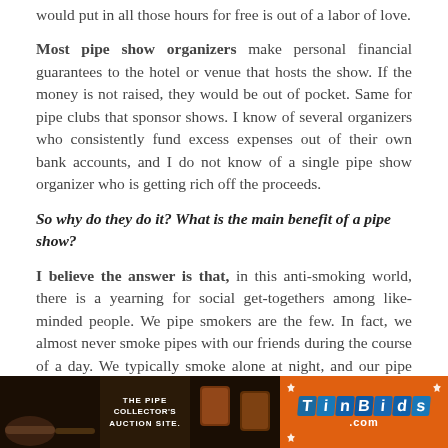would put in all those hours for free is out of a labor of love.
Most pipe show organizers make personal financial guarantees to the hotel or venue that hosts the show. If the money is not raised, they would be out of pocket. Same for pipe clubs that sponsor shows. I know of several organizers who consistently fund excess expenses out of their own bank accounts, and I do not know of a single pipe show organizer who is getting rich off the proceeds.
So why do they do it? What is the main benefit of a pipe show?
I believe the answer is that, in this anti-smoking world, there is a yearning for social get-togethers among like-minded people. We pipe smokers are the few. In fact, we almost never smoke pipes with our friends during the course of a day. We typically smoke alone at night, and our pipe friendships are nurtured by phone and email, for the most part.
[Figure (photo): TinBids advertisement banner showing pipe smoking paraphernalia on dark background on the left, text 'THE PIPE COLLECTOR'S AUCTION SITE.' in the middle, and TinBids logo on orange background on the right.]